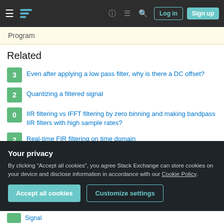Stack Exchange navigation bar with Log in and Sign up buttons
Program
Related
3  Even after applying a low pass filter, why is there a DC offset?
2  Quantizing a filtered signal
0  IIR filtering vs IFFT filtering by zero binning and making bandpass IIR filters with high sample rates?
2  Real-time FIR filtering on time domain
0  Bandpass overshoots at the beginning and end of signal: why?
Your privacy
By clicking "Accept all cookies", you agree Stack Exchange can store cookies on your device and disclose information in accordance with our Cookie Policy.
Signal